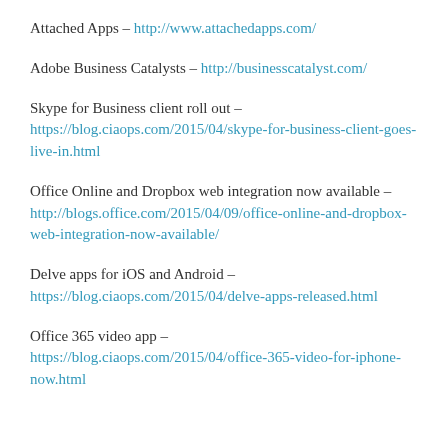Attached Apps – http://www.attachedapps.com/
Adobe Business Catalysts – http://businesscatalyst.com/
Skype for Business client roll out – https://blog.ciaops.com/2015/04/skype-for-business-client-goes-live-in.html
Office Online and Dropbox web integration now available – http://blogs.office.com/2015/04/09/office-online-and-dropbox-web-integration-now-available/
Delve apps for iOS and Android – https://blog.ciaops.com/2015/04/delve-apps-released.html
Office 365 video app – https://blog.ciaops.com/2015/04/office-365-video-for-iphone-now.html